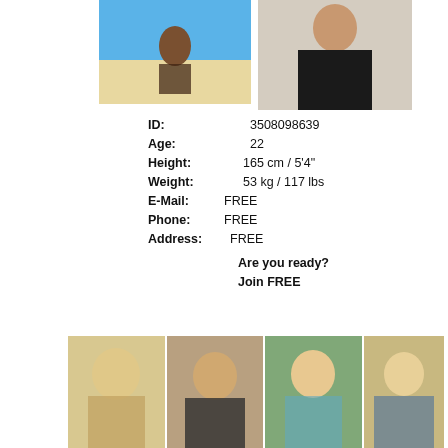[Figure (photo): Woman sitting on beach in swimwear]
[Figure (photo): Woman in black leather dress standing]
ID: 3508098639
Age: 22
Height: 165 cm / 5'4"
Weight: 53 kg / 117 lbs
E-Mail: FREE
Phone: FREE
Address: FREE
Are you ready? Join FREE
[Figure (photo): Blonde woman portrait]
[Figure (photo): Blonde woman portrait 2]
[Figure (photo): Blonde woman outdoors]
[Figure (photo): Blonde woman in bikini on beach]